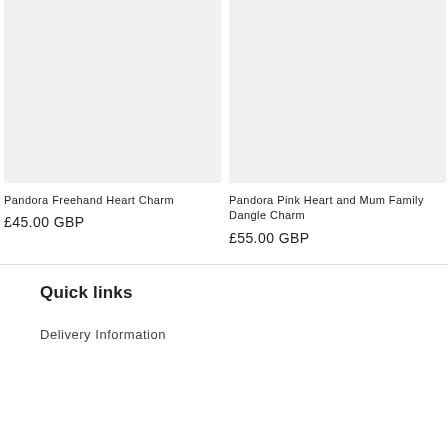[Figure (photo): Product image placeholder for Pandora Freehand Heart Charm, light grey background]
[Figure (photo): Product image placeholder for Pandora Pink Heart and Mum Family Dangle Charm, light grey background]
Pandora Freehand Heart Charm
£45.00 GBP
Pandora Pink Heart and Mum Family Dangle Charm
£55.00 GBP
Quick links
Delivery Information